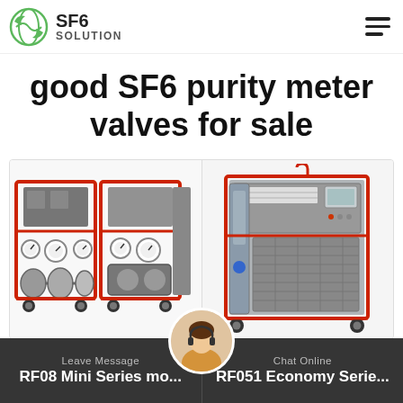SF6 SOLUTION
good SF6 purity meter valves for sale
[Figure (photo): Two red-framed industrial SF6 gas handling machines side by side. Left machine is smaller with gauges and compressors. Right machine is a larger grey cabinet unit with display panel, mounted on wheels with red frame accents.]
Leave Message   RF08 Mini Series mo...   Chat Online   RF051 Economy Serie...